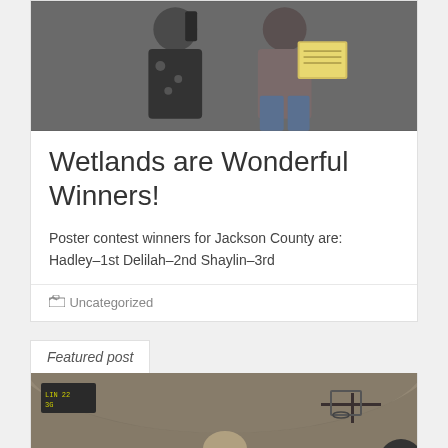[Figure (photo): Two people standing and holding certificates/awards, photographed indoors against a dark wall background]
Wetlands are Wonderful Winners!
Poster contest winners for Jackson County are: Hadley–1st Delilah–2nd Shaylin–3rd
Uncategorized
Featured post
[Figure (photo): People in a gymnasium with basketball hoops visible in the background]